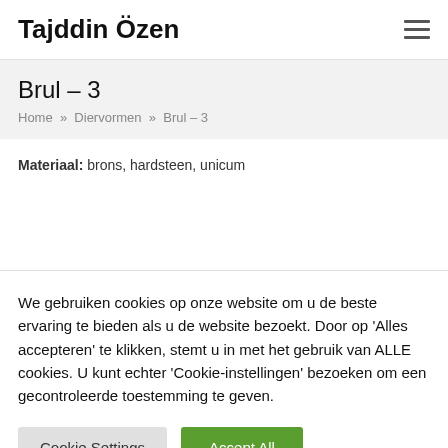Tajddin Özen
Brul – 3
Home » Diervormen » Brul – 3
Materiaal: brons, hardsteen, unicum
We gebruiken cookies op onze website om u de beste ervaring te bieden als u de website bezoekt. Door op 'Alles accepteren' te klikken, stemt u in met het gebruik van ALLE cookies. U kunt echter 'Cookie-instellingen' bezoeken om een gecontroleerde toestemming te geven.
Cookie Settings | Accept All